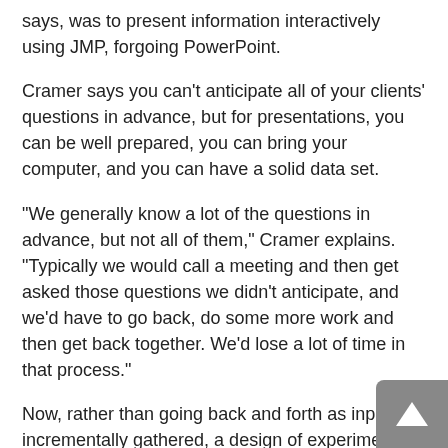says, was to present information interactively using JMP, forgoing PowerPoint.
Cramer says you can’t anticipate all of your clients’ questions in advance, but for presentations, you can be well prepared, you can bring your computer, and you can have a solid data set.
“We generally know a lot of the questions in advance, but not all of them,” Cramer explains. “Typically we would call a meeting and then get asked those questions we didn’t anticipate, and we’d have to go back, do some more work and then get back together. We’d lose a lot of time in that process.”
Now, rather than going back and forth as input is incrementally gathered, a design of experiment meeting is held, followed by an interactive meeting, and then it’s time to take action. “We offer answers to questions on the spot.”